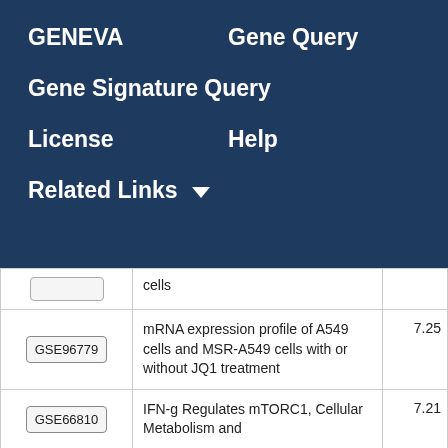GENEVA   Gene Query
Gene Signature Query
License   Help
Related Links ▾
|  | cells |  |
| GSE96779 | mRNA expression profile of A549 cells and MSR-A549 cells with or without JQ1 treatment | 7.25 |
| GSE66810 | IFN-g Regulates mTORC1, Cellular Metabolism and | 7.21 |